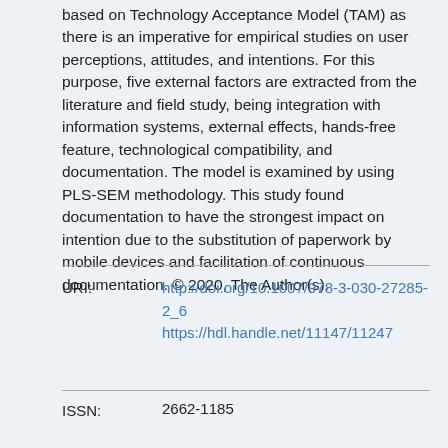based on Technology Acceptance Model (TAM) as there is an imperative for empirical studies on user perceptions, attitudes, and intentions. For this purpose, five external factors are extracted from the literature and field study, being integration with information systems, external effects, hands-free feature, technological compatibility, and documentation. The model is examined by using PLS-SEM methodology. This study found documentation to have the strongest impact on intention due to the substitution of paperwork by mobile devices and facilitation of continuous documentation. © 2020, The Author(s).
URI: http://doi.org/10.1007/978-3-030-27285-2_6 https://hdl.handle.net/11147/11247
ISSN: 2662-1185